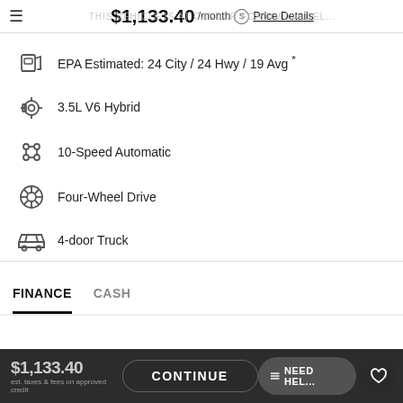$1,133.40 /month  Price Details
EPA Estimated: 24 City / 24 Hwy / 19 Avg *
3.5L V6 Hybrid
10-Speed Automatic
Four-Wheel Drive
4-door Truck
FINANCE   CASH
$1,133.40  CONTINUE  NEED HELP  est. taxes & fees on approved credit